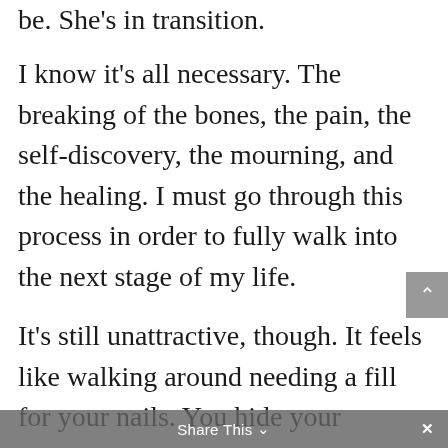be. She's in transition.
I know it's all necessary. The breaking of the bones, the pain, the self-discovery, the mourning, and the healing. I must go through this process in order to fully walk into the next stage of my life.
It's still unattractive, though. It feels like walking around needing a fill for your nails. You hide your
Share This ∨